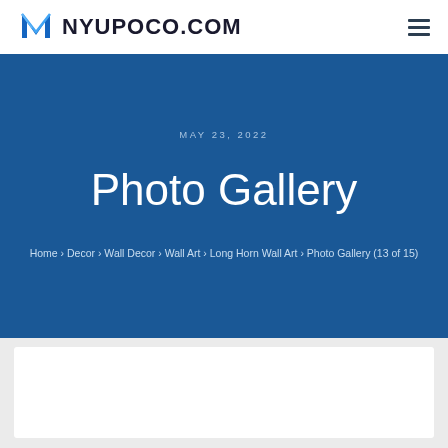NYUPOCO.COM
MAY 23, 2022
Photo Gallery
Home › Decor › Wall Decor › Wall Art › Long Horn Wall Art › Photo Gallery (13 of 15)